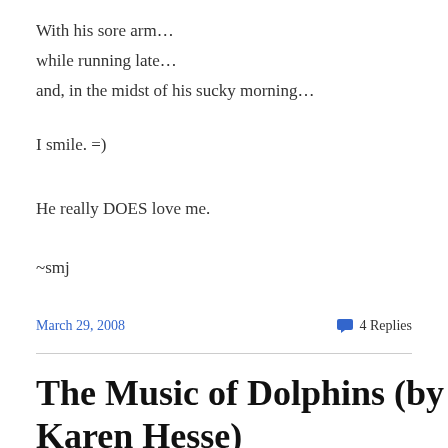With his sore arm…
while running late…
and, in the midst of his sucky morning…
I smile. =)
He really DOES love me.
~smj
March 29, 2008   4 Replies
The Music of Dolphins (by Karen Hesse)